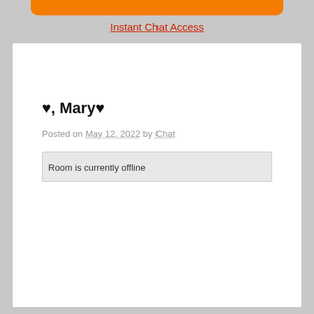[Figure (other): Orange rounded bar at top of page]
Instant Chat Access
♥, Mary♥
Posted on May 12, 2022 by Chat
Room is currently offline